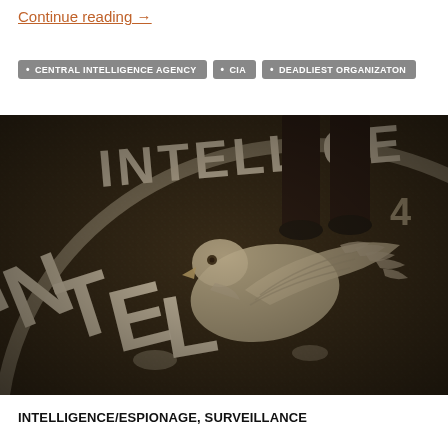Continue reading →
CENTRAL INTELLIGENCE AGENCY
CIA
DEADLIEST ORGANIZATON
[Figure (photo): Sepia-toned photograph of the CIA headquarters lobby floor showing the CIA eagle seal emblem inlaid in stone with the word INTELLIGENCE visible in large letters, a person's legs/shoes visible standing on the floor]
INTELLIGENCE/ESPIONAGE, SURVEILLANCE